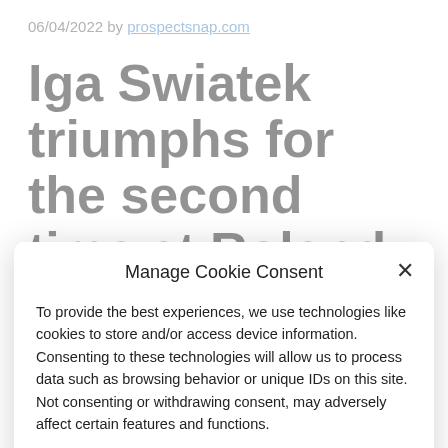06/04/2022 by prospectsnap.com
Iga Swiatek triumphs for the second time at Roland-Garros
Manage Cookie Consent
To provide the best experiences, we use technologies like cookies to store and/or access device information. Consenting to these technologies will allow us to process data such as browsing behavior or unique IDs on this site. Not consenting or withdrawing consent, may adversely affect certain features and functions.
Accept
Cookie Policy